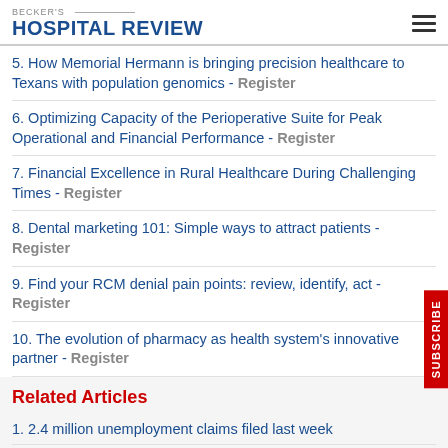BECKER'S HOSPITAL REVIEW
5. How Memorial Hermann is bringing precision healthcare to Texans with population genomics - Register
6. Optimizing Capacity of the Perioperative Suite for Peak Operational and Financial Performance - Register
7. Financial Excellence in Rural Healthcare During Challenging Times - Register
8. Dental marketing 101: Simple ways to attract patients - Register
9. Find your RCM denial pain points: review, identify, act - Register
10. The evolution of pharmacy as health system's innovative partner - Register
Related Articles
1. 2.4 million unemployment claims filed last week
2. 2-month unemployment claim tally surpasses 36 millio